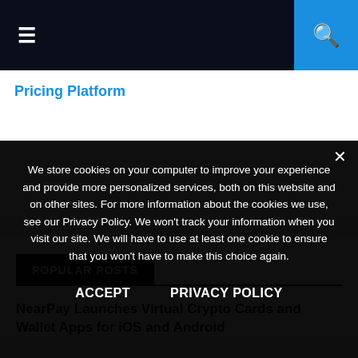☰  [search]
Pricing Platform
POPULAR POSTS
NearPay Launches Virtual Crypto Cards and Wallet Apps for iOS and Android
We store cookies on your computer to improve your experience and provide more personalized services, both on this website and on other sites. For more information about the cookies we use, see our Privacy Policy. We won't track your information when you visit our site. We will have to use at least one cookie to ensure that you won't have to make this choice again.
ACCEPT    PRIVACY POLICY